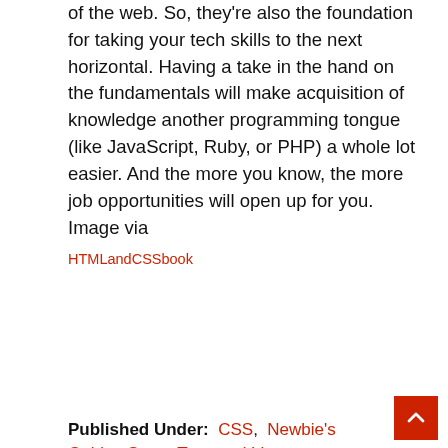of the web. So, they're also the foundation for taking your tech skills to the next horizontal. Having a take in the hand on the fundamentals will make acquisition of knowledge another programming tongue (like JavaScript, Ruby, or PHP) a whole lot easier. And the more you know, the more job opportunities will open up for you. Image via HTMLandCSSbook
Published Under:  CSS,  Newbie's Guide,  Start,  Tops and Lists
Related Updates